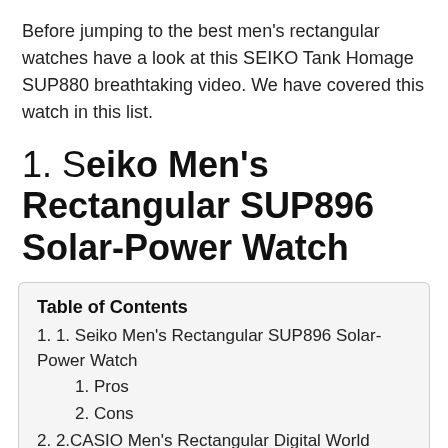Before jumping to the best men's rectangular watches have a look at this SEIKO Tank Homage SUP880 breathtaking video. We have covered this watch in this list.
1. Seiko Men's Rectangular SUP896 Solar-Power Watch
| Table of Contents |
| --- |
| 1. 1. Seiko Men's Rectangular SUP896 Solar-Power Watch |
| 1. Pros |
| 2. Cons |
| 2. 2.CASIO Men's Rectangular Digital World TIME A500WGA-9DF Watch: |
| 1. Pros |